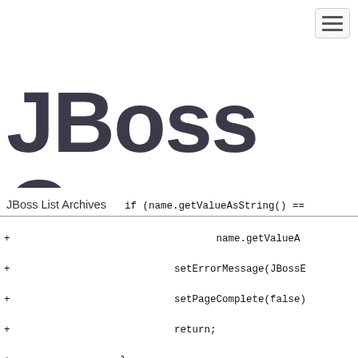[Figure (logo): JBoss Community logo with stylized bold text]
JBoss List Archives   if (name.getValueAsString() ==
+                                 name.getValueA
+                          setErrorMessage(JBossE
+                          setPageComplete(false)
+                          return;
+                 }
+
+                 if(version.getValueAsString()
"".equals(version.getValueAsString())){ //$NON-NLS-1$
+                          setErrorMessage(JBossE
+                          setPageComplete(false)
+                          return;
+                 }
+
+                 if (!name.getValueAsString().m
+                          "[a-zA-Z_][a-z
+                          setErrorMessage(JBossE